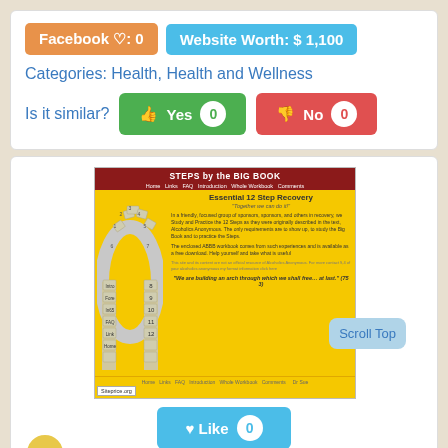Facebook ♡: 0
Website Worth: $ 1,100
Categories: Health, Health and Wellness
Is it similar? Yes 0  No 0
[Figure (screenshot): Screenshot of 'STEPS by the BIG BOOK' website with yellow background, dark red header, arch graphic on left, and text about 12-step recovery. Scroll Top bubble visible at bottom right.]
Like 0